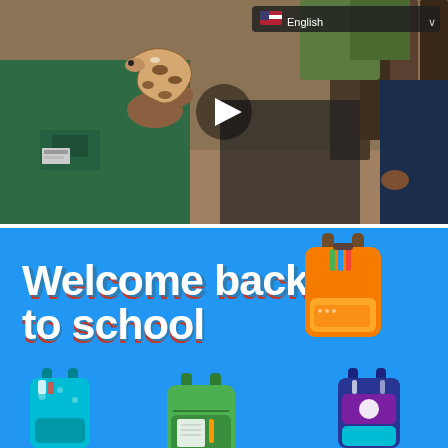[Figure (photo): Video screenshot of a park ranger or zookeeper in a green uniform holding a small brown and white patterned snake, with another person in a dark shirt visible on the right, outdoors in a forest setting. A language selector bar showing English with a US flag is visible in the top right, and a play button triangle is centered on the image.]
[Figure (illustration): Colorful back-to-school promotional graphic with bright blue background. Large bold white text reads 'Welcome back to school' with red and blue shadow effect. Multiple illustrated colorful school backpacks are shown: an orange and tan backpack top right, a teal/blue backpack bottom left, a green backpack bottom center, and a blue/purple backpack bottom right.]